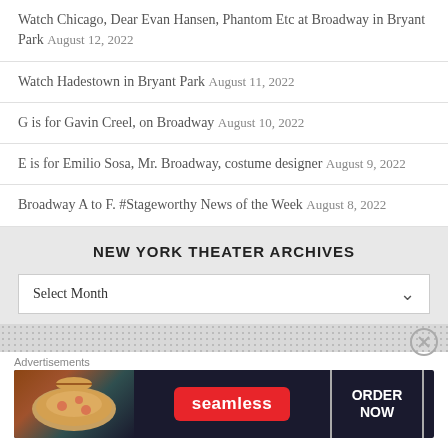Watch Chicago, Dear Evan Hansen, Phantom Etc at Broadway in Bryant Park August 12, 2022
Watch Hadestown in Bryant Park August 11, 2022
G is for Gavin Creel, on Broadway August 10, 2022
E is for Emilio Sosa, Mr. Broadway, costume designer August 9, 2022
Broadway A to F. #Stageworthy News of the Week August 8, 2022
NEW YORK THEATER ARCHIVES
Select Month
[Figure (screenshot): Seamless food delivery advertisement banner with pizza image, Seamless logo in red, and ORDER NOW button]
Advertisements